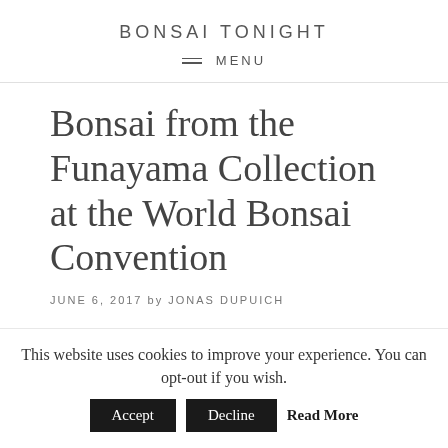BONSAI TONIGHT
MENU
Bonsai from the Funayama Collection at the World Bonsai Convention
JUNE 6, 2017 by JONAS DUPUICH
This website uses cookies to improve your experience. You can opt-out if you wish. Accept Decline Read More